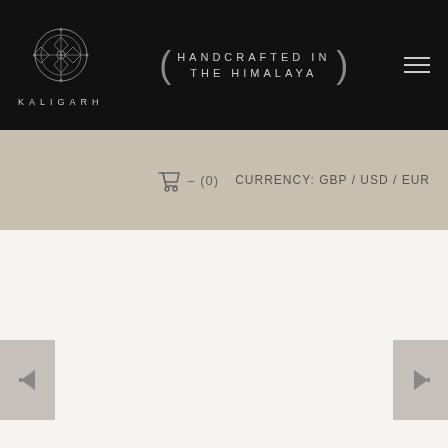KALIGARH — HANDCRAFTED IN THE HIMALAYA
– (0)   CURRENCY: GBP / USD / EUR
[Figure (screenshot): White/light gray product image area with left and right navigation arrows on sides]